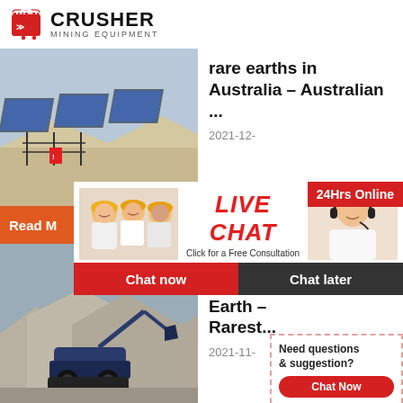[Figure (logo): Crusher Mining Equipment logo with red shopping bag icon and bold CRUSHER text]
[Figure (photo): Photo of solar panels / mining equipment in a desert landscape]
rare earths in Australia - Australian ...
2021-12-
[Figure (photo): Live Chat overlay popup with workers in hard hats, LIVE CHAT heading, Chat now and Chat later buttons]
24Hrs Online
Read M
[Figure (photo): Mining machinery and crushed stone/gravel stockpiles]
8 of the Minerals Earth – Rarest...
2021-11-
Need questions & suggestion?
Chat Now
Enquiry
limingjlmofen@sina.com